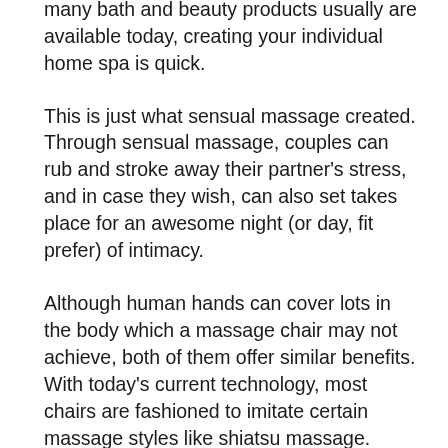home Spa, a better night's sleep will follow and give you feeling rested well. With the many bath and beauty products usually are available today, creating your individual home spa is quick.
This is just what sensual massage created. Through sensual massage, couples can rub and stroke away their partner's stress, and in case they wish, can also set takes place for an awesome night (or day, fit prefer) of intimacy.
Although human hands can cover lots in the body which a massage chair may not achieve, both of them offer similar benefits. With today's current technology, most chairs are fashioned to imitate certain massage styles like shiatsu massage. They can loosen and penetrate deep into the muscles, straightening out those lumps similar to a hand massage can.
We'll visit play because, put simply, we think that's